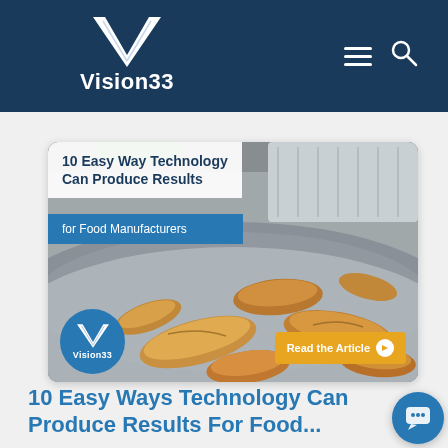Vision33
[Figure (screenshot): Vision33 article card image showing bread rolls on a food manufacturing conveyor belt with text overlays '10 Easy Way Technology Can Produce Results' and 'for Food Manufacturers', Vision33 logo circle bottom-left, and a 'Read the Article' orange button bottom-right]
10 Easy Ways Technology Can Produce Results For Food...